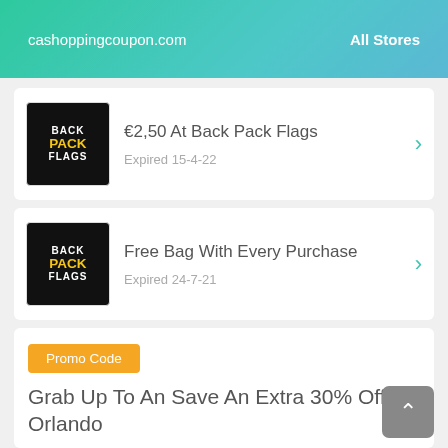cashoppingcoupon.com   All Stores
€2,50 At Back Pack Flags
Expired 15-4-22
Free Bag With Every Purchase
Expired 24-7-21
Promo Code
Grab Up To An Save An Extra 30% Off Orlando